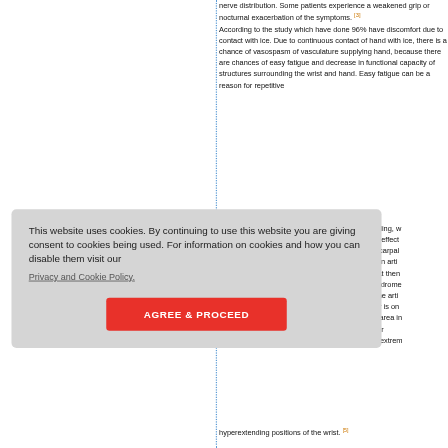nerve distribution. Some patients experience a weakened grip or nocturnal exacerbation of the symptoms. [3] According to the study which have done 96% have discomfort due to contact with ice. Due to continuous contact of hand with ice, there is a chance of vasospasm of vasculature supplying hand, because there are chances of easy fatigue and decrease in functional capacity of structures surrounding the wrist and hand. Easy fatigue can be a reason for repetitive ... cle welling, w ion effect es carpal y. An arti that there syndrome . The arti tory is on he area in s for or extrem hyperextending positions of the wrist. [5]
This website uses cookies. By continuing to use this website you are giving consent to cookies being used. For information on cookies and how you can disable them visit our Privacy and Cookie Policy. AGREE & PROCEED